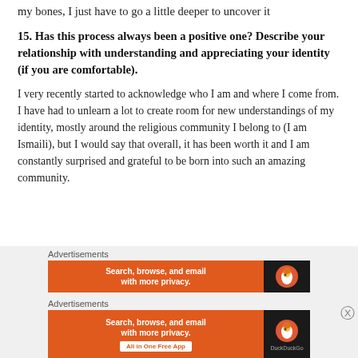my bones, I just have to go a little deeper to uncover it
15. Has this process always been a positive one? Describe your relationship with understanding and appreciating your identity (if you are comfortable).
I very recently started to acknowledge who I am and where I come from. I have had to unlearn a lot to create room for new understandings of my identity, mostly around the religious community I belong to (I am Ismaili), but I would say that overall, it has been worth it and I am constantly surprised and grateful to be born into such an amazing community.
[Figure (screenshot): DuckDuckGo advertisement banner 1: orange section with text 'Search, browse, and email with more privacy.' and black section with duck logo circle]
[Figure (screenshot): DuckDuckGo advertisement banner 2: orange section with text 'Search, browse, and email with more privacy.' and 'All in One Free App' button, black section with duck logo and DuckDuckGo label]